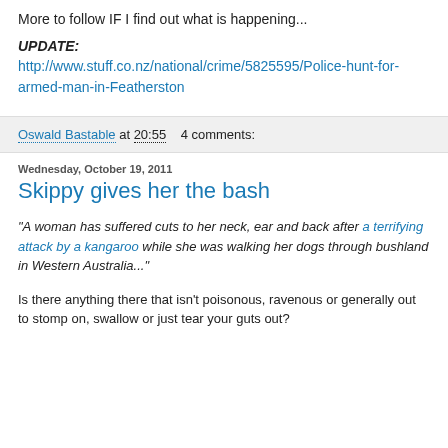More to follow IF I find out what is happening...
UPDATE:
http://www.stuff.co.nz/national/crime/5825595/Police-hunt-for-armed-man-in-Featherston
Oswald Bastable at 20:55   4 comments:
Wednesday, October 19, 2011
Skippy gives her the bash
"A woman has suffered cuts to her neck, ear and back after a terrifying attack by a kangaroo while she was walking her dogs through bushland in Western Australia..."
Is there anything there that isn't poisonous, ravenous or generally out to stomp on, swallow or just tear your guts out?